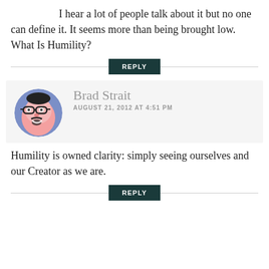I hear a lot of people talk about it but no one can define it. It seems more than being brought low. What Is Humility?
REPLY
[Figure (illustration): Circular avatar photo of Brad Strait, a man with glasses, mustache and goatee, illustrated in pink/blue tones]
Brad Strait
AUGUST 21, 2012 AT 4:51 PM
Humility is owned clarity: simply seeing ourselves and our Creator as we are.
REPLY